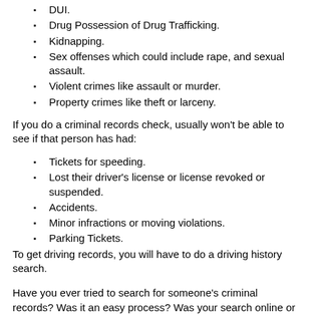DUI.
Drug Possession of Drug Trafficking.
Kidnapping.
Sex offenses which could include rape, and sexual assault.
Violent crimes like assault or murder.
Property crimes like theft or larceny.
If you do a criminal records check, usually won't be able to see if that person has had:
Tickets for speeding.
Lost their driver's license or license revoked or suspended.
Accidents.
Minor infractions or moving violations.
Parking Tickets.
To get driving records, you will have to do a driving history search.
Have you ever tried to search for someone's criminal records? Was it an easy process? Was your search online or did you call the Mahoning County courthouse? Did you get information that was correct? There are lots of reasons that folks look up criminal backgrounds and records, and your comments may make it easier for others.